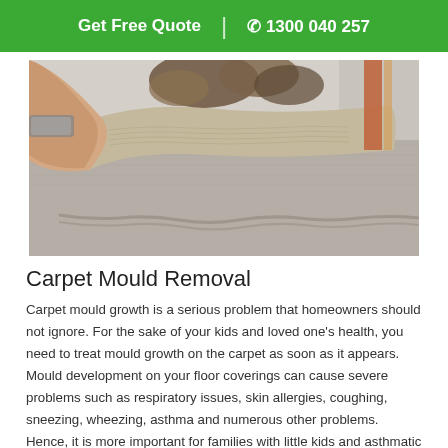Get Free Quote  |  ✆ 1300 040 257
[Figure (photo): A hand (wearing a metal watch/bracelet) lifting up the corner of a carpet, revealing a mouldy backing underneath. The carpet underside shows burlap/hessian fabric with visible mould growth. The top surface of the carpet appears beige/grey.]
Carpet Mould Removal
Carpet mould growth is a serious problem that homeowners should not ignore. For the sake of your kids and loved one's health, you need to treat mould growth on the carpet as soon as it appears. Mould development on your floor coverings can cause severe problems such as respiratory issues, skin allergies, coughing, sneezing, wheezing, asthma and numerous other problems. Hence, it is more important for families with little kids and asthmatic people to take mould issue serious. Hence, if you are looking for